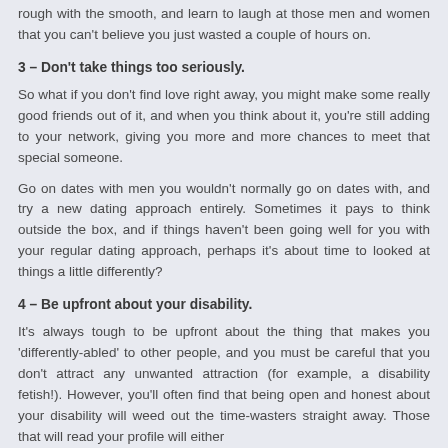rough with the smooth, and learn to laugh at those men and women that you can't believe you just wasted a couple of hours on.
3 – Don't take things too seriously.
So what if you don't find love right away, you might make some really good friends out of it, and when you think about it, you're still adding to your network, giving you more and more chances to meet that special someone.
Go on dates with men you wouldn't normally go on dates with, and try a new dating approach entirely. Sometimes it pays to think outside the box, and if things haven't been going well for you with your regular dating approach, perhaps it's about time to looked at things a little differently?
4 – Be upfront about your disability.
It's always tough to be upfront about the thing that makes you 'differently-abled' to other people, and you must be careful that you don't attract any unwanted attraction (for example, a disability fetish!). However, you'll often find that being open and honest about your disability will weed out the time-wasters straight away. Those that will read your profile will either